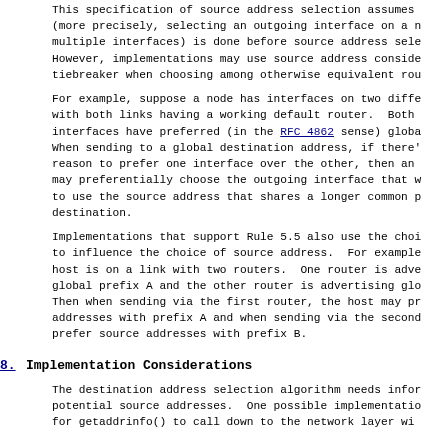This specification of source address selection assumes (more precisely, selecting an outgoing interface on a m multiple interfaces) is done before source address sele However, implementations may use source address conside tiebreaker when choosing among otherwise equivalent rou
For example, suppose a node has interfaces on two diffe with both links having a working default router.  Both interfaces have preferred (in the RFC 4862 sense) globa When sending to a global destination address, if there' reason to prefer one interface over the other, then an may preferentially choose the outgoing interface that w to use the source address that shares a longer common p destination.
Implementations that support Rule 5.5 also use the choi to influence the choice of source address.  For example host is on a link with two routers.  One router is adve global prefix A and the other router is advertising glo Then when sending via the first router, the host may pr addresses with prefix A and when sending via the second prefer source addresses with prefix B.
8.  Implementation Considerations
The destination address selection algorithm needs infor potential source addresses.  One possible implementatio for getaddrinfo() to call down to the network layer wi